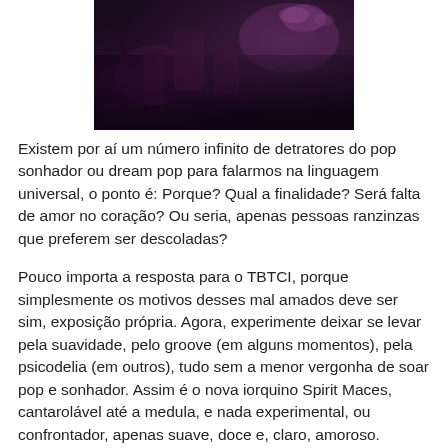[Figure (photo): Dark nightclub or concert scene with dim purple and red lighting, silhouettes of people visible]
Existem por aí um número infinito de detratores do pop sonhador ou dream pop para falarmos na linguagem universal, o ponto é: Porque? Qual a finalidade? Será falta de amor no coração? Ou seria, apenas pessoas ranzinzas que preferem ser descoladas?
Pouco importa a resposta para o TBTCI, porque simplesmente os motivos desses mal amados deve ser sim, exposição própria. Agora, experimente deixar se levar pela suavidade, pelo groove (em alguns momentos), pela psicodelia (em outros), tudo sem a menor vergonha de soar pop e sonhador. Assim é o nova iorquino Spirit Maces, cantarolável até a medula, e nada experimental, ou confrontador, apenas suave, doce e, claro, amoroso.
Dê um tempo em sua vida ranzinza e aproveite sem